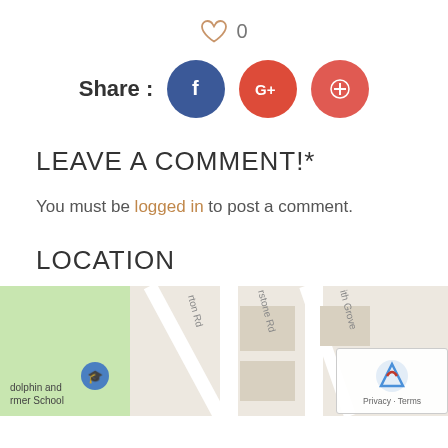[Figure (other): Heart icon with count 0 (like button)]
Share : [Facebook] [Google+] [Pinterest]
LEAVE A COMMENT!*
You must be logged in to post a comment.
LOCATION
[Figure (map): Google Maps embed showing street map with locations including 'dolphin and rmer School', road names 'rton Rd', 'rstone Rd', 'ith Grove', and 'The Que' label]